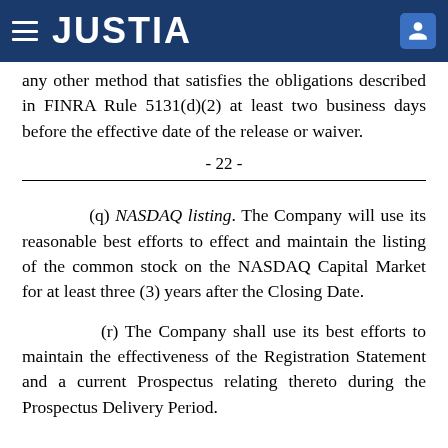JUSTIA
any other method that satisfies the obligations described in FINRA Rule 5131(d)(2) at least two business days before the effective date of the release or waiver.
- 22 -
(q) NASDAQ listing. The Company will use its reasonable best efforts to effect and maintain the listing of the common stock on the NASDAQ Capital Market for at least three (3) years after the Closing Date.
(r) The Company shall use its best efforts to maintain the effectiveness of the Registration Statement and a current Prospectus relating thereto during the Prospectus Delivery Period.